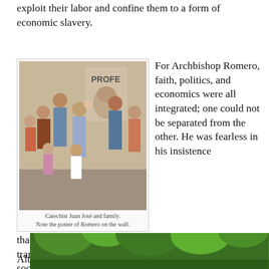exploit their labor and confine them to a form of economic slavery.
[Figure (photo): Group photo of Catechist Juan José and family standing in front of a wall with a poster of Romero visible.]
Catechist Juan José and family. Note the poster of Romero on the wall.
For Archbishop Romero, faith, politics, and economics were all integrated; one could not be separated from the other. He was fearless in his insistence that the demands of the Gospel must inform and transform politics and economics so that all born into a society would have the means to live a genuinely human life, a life in which none ever had to go hungry, and all had access to dignified housing and fair wage labor.
Alt
[Figure (photo): Partial view of a lush green forest or jungle scene, visible at the bottom right of the page.]